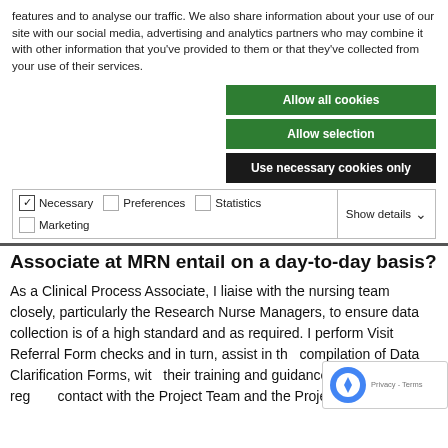features and to analyse our traffic. We also share information about your use of our site with our social media, advertising and analytics partners who may combine it with other information that you've provided to them or that they've collected from your use of their services.
[Figure (screenshot): Cookie consent buttons: 'Allow all cookies' (green), 'Allow selection' (green), 'Use necessary cookies only' (dark/black)]
[Figure (screenshot): Cookie options checkboxes: Necessary (checked), Preferences (unchecked), Statistics (unchecked), Marketing (unchecked), with Show details dropdown]
Associate at MRN entail on a day-to-day basis?
As a Clinical Process Associate, I liaise with the nursing team closely, particularly the Research Nurse Managers, to ensure data collection is of a high standard and as required. I perform Visit Referral Form checks and in turn, assist in the compilation of Data Clarification Forms, with their training and guidance. I am also in regular contact with the Project Team and the Project